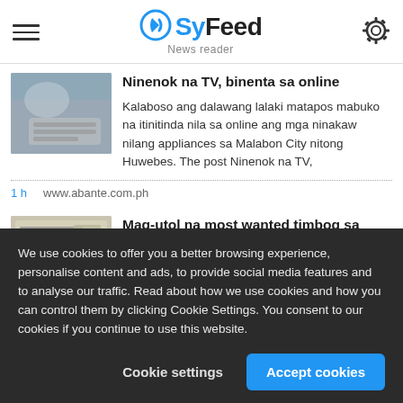SyFeed News reader
[Figure (photo): Thumbnail image showing a person using a laptop/keyboard, blurred/close-up]
Ninenok na TV, binenta sa online
Kalaboso ang dalawang lalaki matapos mabuko na itinitinda nila sa online ang mga ninakaw nilang appliances sa Malabon City nitong Huwebes. The post Ninenok na TV,
1 h    www.abante.com.ph
[Figure (photo): Thumbnail image showing a document or form with numbers/text]
Mag-utol na most wanted timbog sa construction site
We use cookies to offer you a better browsing experience, personalise content and ads, to provide social media features and to analyse our traffic. Read about how we use cookies and how you can control them by clicking Cookie Settings. You consent to our cookies if you continue to use this website.
Cookie settings   Accept cookies